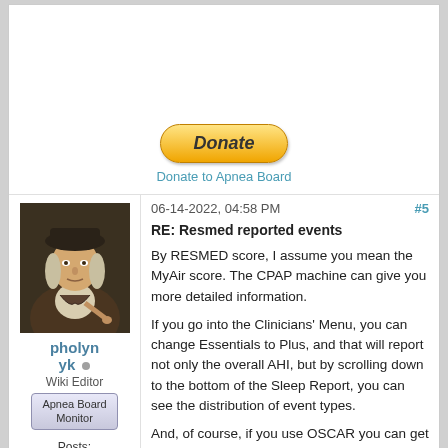[Figure (other): PayPal Donate button (yellow rounded rectangle with italic bold 'Donate' text)]
Donate to Apnea Board
06-14-2022, 04:58 PM
#5
RE: Resmed reported events
[Figure (photo): Forum user avatar: classical oil portrait painting of a man in 18th-century attire with a hat]
pholynyk
Wiki Editor
Apnea Board Monitor
Posts: 4,116
Threads: 99
Joined: Mar
By RESMED score, I assume you mean the MyAir score. The CPAP machine can give you more detailed information.
If you go into the Clinicians' Menu, you can change Essentials to Plus, and that will report not only the overall AHI, but by scrolling down to the bottom of the Sleep Report, you can see the distribution of event types.
And, of course, if you use OSCAR you can get a complete report of each night's therapy.